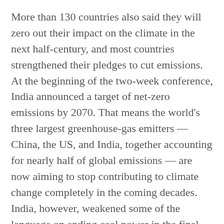More than 130 countries also said they will zero out their impact on the climate in the next half-century, and most countries strengthened their pledges to cut emissions. At the beginning of the two-week conference, India announced a target of net-zero emissions by 2070. That means the world's three largest greenhouse-gas emitters — China, the US, and India, together accounting for nearly half of global emissions — are now aiming to stop contributing to climate change completely in the coming decades. India, however, weakened some of the language on ending coal power in the final hours of the meeting.
“This is the moment of truth for our planet and it’s the moment of truth for our children and our